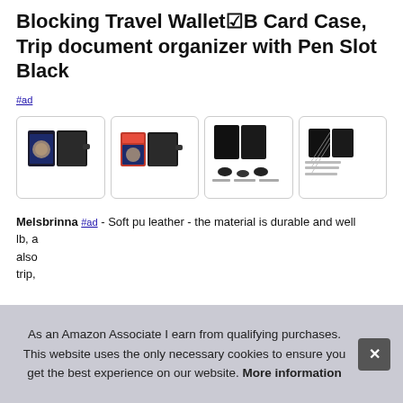Blocking Travel Wallet☑B Card Case, Trip document organizer with Pen Slot Black
#ad
[Figure (photo): Four product photos of a black RFID blocking travel wallet/passport holder shown from different angles, with contents visible in some images.]
Melsbrinna #ad - Soft pu leather - the material is durable and well... lb, a... also... trip,
As an Amazon Associate I earn from qualifying purchases. This website uses the only necessary cookies to ensure you get the best experience on our website. More information